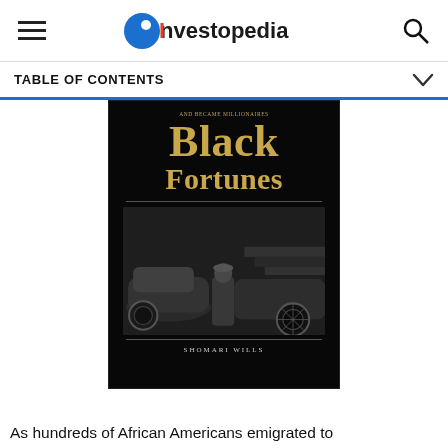≡  [Investopedia logo]  🔍
TABLE OF CONTENTS
[Figure (photo): Book cover of 'Black Fortunes' by Shomari Wills. Black background with gold/bronze lettering showing title 'Black Fortunes' and subtitle partially visible at top. Lower half shows a black and white photograph of a person in a fur coat standing next to a vintage luxury automobile. Author name 'SHOMARI WILLS' at bottom in spaced capital letters.]
As hundreds of African Americans emigrated to